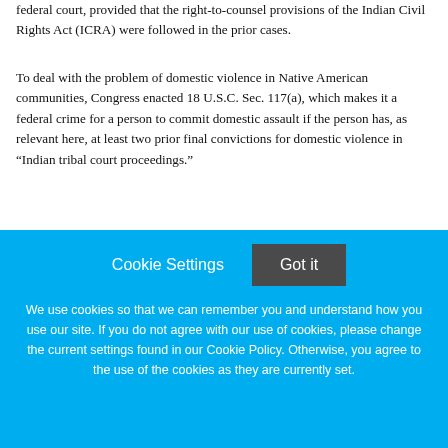federal court, provided that the right-to-counsel provisions of the Indian Civil Rights Act (ICRA) were followed in the prior cases.
To deal with the problem of domestic violence in Native American communities, Congress enacted 18 U.S.C. Sec. 117(a), which makes it a federal crime for a person to commit domestic assault if the person has, as relevant here, at least two prior final convictions for domestic violence in “Indian tribal court proceedings.”
Michael Bryant had multiple prior tribal court convictions for domestic violence, all of which had sentences of less than one year.  He contended that these prior convictions could not count as predicates under Sec. 117(a) because they were entered without counsel, and using them would violate his Sixth
[Figure (screenshot): Cookie consent overlay with 'Cookie Settings' text button and 'Got it' dark button, and cookie policy text on blue background.]